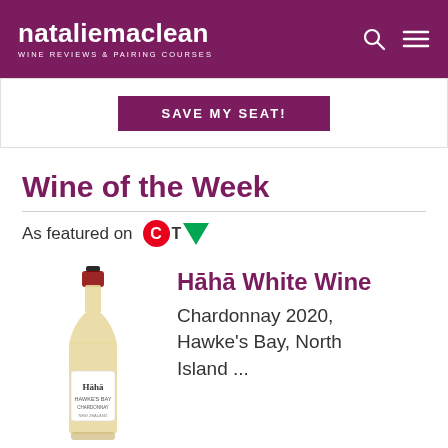natalie maclean — WINE REVIEWS & PAIRING COURSES
[Figure (screenshot): SAVE MY SEAT! button in purple/maroon color]
Wine of the Week
As featured on CTV
[Figure (photo): Hāhā White Wine bottle — Chardonnay 2020 from Hawke's Bay, North Island]
Hāhā White Wine Chardonnay 2020, Hawke's Bay, North Island ...